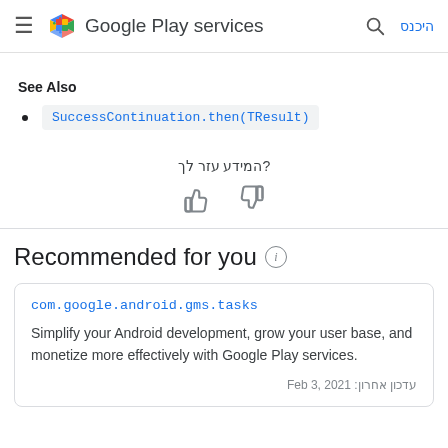Google Play services
See Also
SuccessContinuation.then(TResult)
?המידע עזר לך
Recommended for you
com.google.android.gms.tasks
Simplify your Android development, grow your user base, and monetize more effectively with Google Play services.
עדכון אחרון: Feb 3, 2021